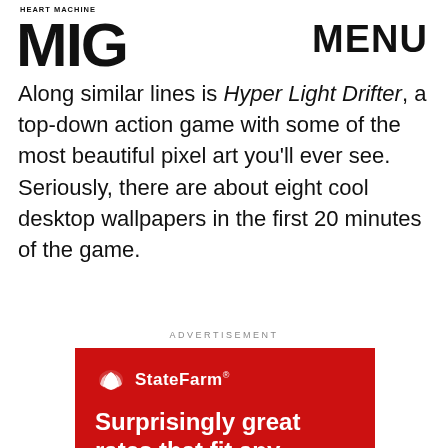HEART MACHINE MIG MENU
Along similar lines is Hyper Light Drifter, a top-down action game with some of the most beautiful pixel art you'll ever see. Seriously, there are about eight cool desktop wallpapers in the first 20 minutes of the game.
ADVERTISEMENT
[Figure (illustration): State Farm advertisement on red background with State Farm logo and text: Surprisingly great rates that fit any budget.]